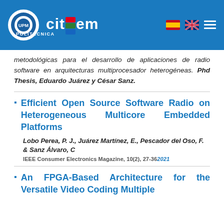[Figure (logo): CITSem university header bar with logo, citsem branding, Spanish and UK flags, and menu icon]
metodológicas para el desarrollo de aplicaciones de radio software en arquitecturas multiprocesador heterogéneas. Phd Thesis, Eduardo Juárez y César Sanz.
Efficient Open Source Software Radio on Heterogeneous Multicore Embedded Platforms
Lobo Perea, P. J., Juárez Martínez, E., Pescador del Oso, F. & Sanz Álvaro, C
IEEE Consumer Electronics Magazine, 10(2), 27-36 2021
An FPGA-Based Architecture for the Versatile Video Coding Multiple